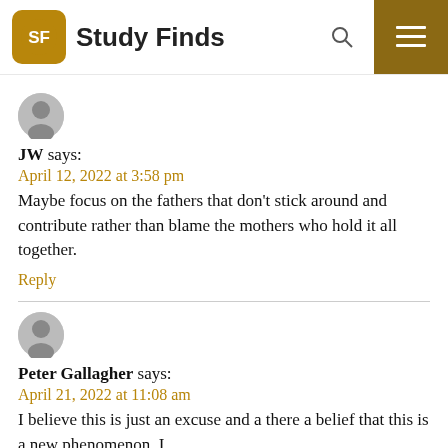Study Finds
JW says:
April 12, 2022 at 3:58 pm
Maybe focus on the fathers that don't stick around and contribute rather than blame the mothers who hold it all together.
Reply
Peter Gallagher says:
April 21, 2022 at 11:08 am
I believe this is just an excuse and a there a belief that this is a new phenomenon. I assure you it is not. My mother was born out of wedlock in 1935 and give you, and b...